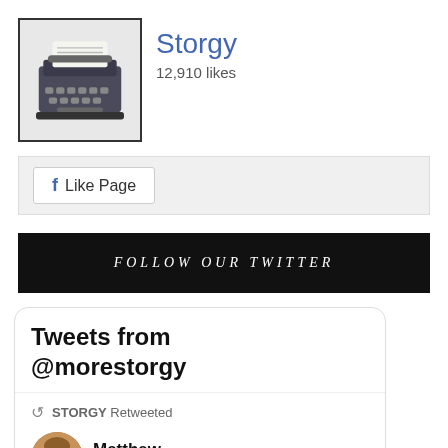[Figure (logo): Storgy typewriter logo in a bordered box]
Storgy
12,910 likes
Like Page
FOLLOW OUR TWITTER
Tweets from @morestorgy
STORGY Retweeted
Matthew ...
@... · Aug 26
Mail day! Just got @ricketywhite's collection from @morestorgy today,